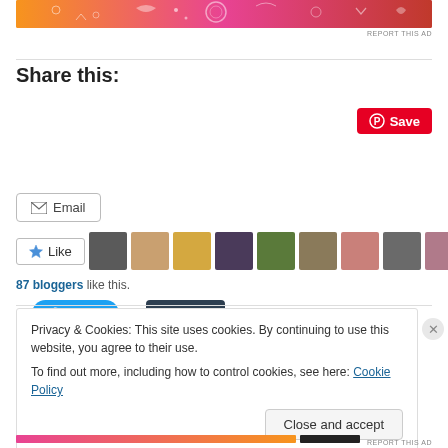[Figure (illustration): Colorful orange-to-pink gradient banner ad with decorative white pattern elements (hearts, dots, sun shape)]
REPORT THIS AD
Share this:
[Figure (screenshot): Pinterest Save button (red background, white text, Pinterest logo circle icon)]
[Figure (screenshot): Twitter Tweet button (blue, rounded) and Tumblr Post button (dark navy, square)]
[Figure (screenshot): Email button with envelope icon]
[Figure (screenshot): Like button with star icon, followed by a row of 11 blogger avatar thumbnails]
87 bloggers like this.
Privacy & Cookies: This site uses cookies. By continuing to use this website, you agree to their use.
To find out more, including how to control cookies, see here: Cookie Policy
[Figure (screenshot): Close and accept button (light gray, rounded)]
REPORT THIS AD